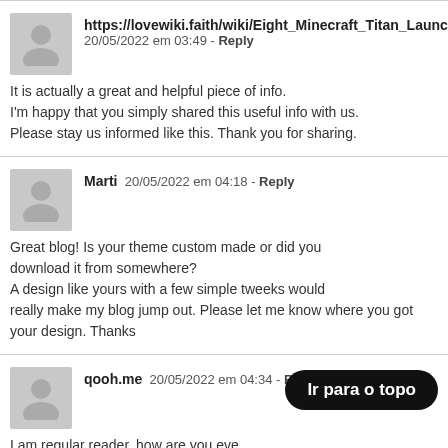https://lovewiki.faith/wiki/Eight_Minecraft_Titan_Launcher_You
20/05/2022 em 03:49 - Reply
It is actually a great and helpful piece of info. I'm happy that you simply shared this useful info with us. Please stay us informed like this. Thank you for sharing.
Marti 20/05/2022 em 04:18 - Reply
Great blog! Is your theme custom made or did you download it from somewhere? A design like yours with a few simple tweeks would really make my blog jump out. Please let me know where you got your design. Thanks
qooh.me 20/05/2022 em 04:34 - Reply
I am regular reader, how are you eve… paragraph
posted at this site is truly pleasant